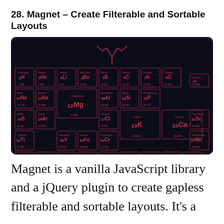28. Magnet – Create Filterable and Sortable Layouts
[Figure (screenshot): Screenshot of Magnet JavaScript library demo showing a periodic table layout on a dark navy background with red/pink element cells]
Magnet is a vanilla JavaScript library and a jQuery plugin to create gapless filterable and sortable layouts. It's a